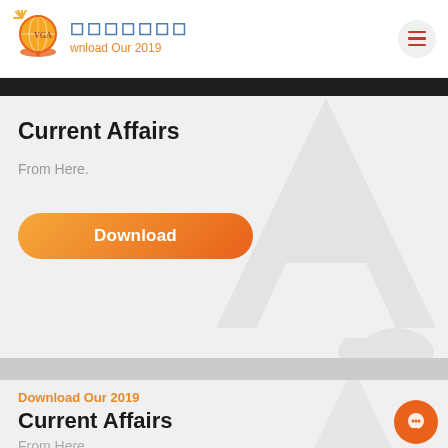VGA [Hindi text] Download Our 2019
Current Affairs
From Here.
Download
Download Our 2019
Current Affairs
From Here.